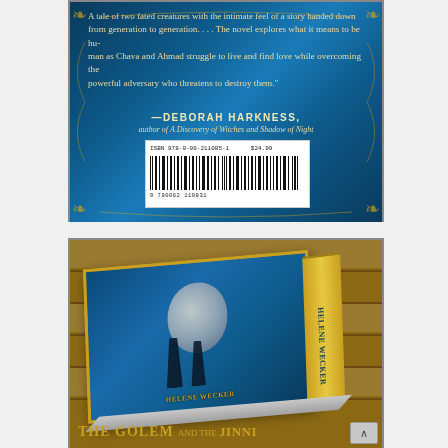[Figure (photo): Close-up photograph of the back cover of 'The Golem and the Jinni' by Helene Wecker. The back cover has a deep blue textured background with gold ornamental scroll decorations in the corners. White/cream text shows a quote about the novel, attributed to Deborah Harkness, author of A Discovery of Witches and Shadow of Night. A white barcode sticker with ISBN 978-0-06-211085-1 and price $24.99 is visible in the lower center of the back cover.]
[Figure (photo): Photograph taken on a wooden deck/table showing the book 'The Golem and the Jinni' by Helene Wecker lying flat at an angle. The teal/blue book cover with gold lettering is visible on the spine and front cover showing the title 'THE GOLEM AND THE JINNI' and author name 'HELENE WECKER'. The book has an orange/gold spine edge.]